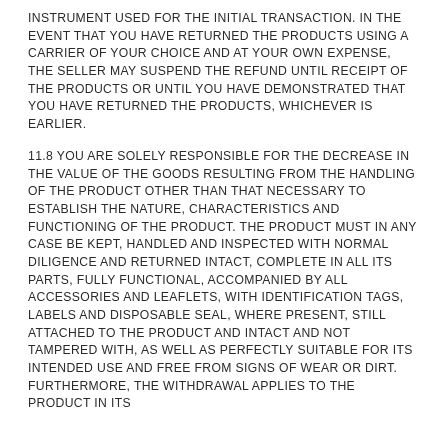INSTRUMENT USED FOR THE INITIAL TRANSACTION. IN THE EVENT THAT YOU HAVE RETURNED THE PRODUCTS USING A CARRIER OF YOUR CHOICE AND AT YOUR OWN EXPENSE, THE SELLER MAY SUSPEND THE REFUND UNTIL RECEIPT OF THE PRODUCTS OR UNTIL YOU HAVE DEMONSTRATED THAT YOU HAVE RETURNED THE PRODUCTS, WHICHEVER IS EARLIER.
11.8 YOU ARE SOLELY RESPONSIBLE FOR THE DECREASE IN THE VALUE OF THE GOODS RESULTING FROM THE HANDLING OF THE PRODUCT OTHER THAN THAT NECESSARY TO ESTABLISH THE NATURE, CHARACTERISTICS AND FUNCTIONING OF THE PRODUCT. THE PRODUCT MUST IN ANY CASE BE KEPT, HANDLED AND INSPECTED WITH NORMAL DILIGENCE AND RETURNED INTACT, COMPLETE IN ALL ITS PARTS, FULLY FUNCTIONAL, ACCOMPANIED BY ALL ACCESSORIES AND LEAFLETS, WITH IDENTIFICATION TAGS, LABELS AND DISPOSABLE SEAL, WHERE PRESENT, STILL ATTACHED TO THE PRODUCT AND INTACT AND NOT TAMPERED WITH, AS WELL AS PERFECTLY SUITABLE FOR ITS INTENDED USE AND FREE FROM SIGNS OF WEAR OR DIRT. FURTHERMORE, THE WITHDRAWAL APPLIES TO THE PRODUCT IN ITS